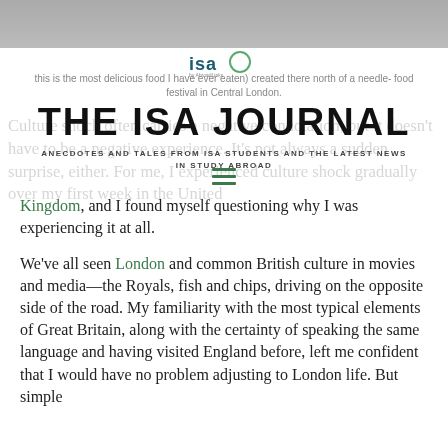[Figure (photo): Top banner image, partially visible photograph at the top of the page]
[Figure (logo): ISA by AbroadLinks logo — circle with 'isa' text]
this is the most delicious food I have ever eaten) created there north of a needle- food festival in Central London.
THE ISA JOURNAL
ANECDOTES AND TALES FROM ISA STUDENTS AND THE LATEST NEWS IN STUDY ABROAD
Culture shock often carries a negative connotation, but it doesn't have to be a negative experience. It's not always a sudden surprise, either. For me, I experienced culture shock gradually over my first week in the United Kingdom, and I found myself questioning why I was experiencing it at all.
We've all seen London and common British culture in movies and media—the Royals, fish and chips, driving on the opposite side of the road. My familiarity with the most typical elements of Great Britain, along with the certainty of speaking the same language and having visited England before, left me confident that I would have no problem adjusting to London life. But simple